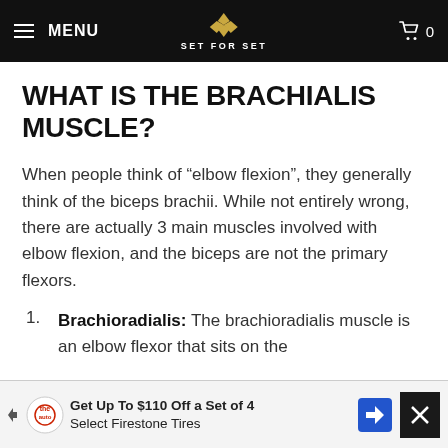MENU | SET FOR SET | 0
WHAT IS THE BRACHIALIS MUSCLE?
When people think of “elbow flexion”, they generally think of the biceps brachii. While not entirely wrong, there are actually 3 main muscles involved with elbow flexion, and the biceps are not the primary flexors.
Brachioradialis: The brachioradialis muscle is an elbow flexor that sits on the...
[Figure (infographic): Advertisement banner: Get Up To $110 Off a Set of 4 Select Firestone Tires, with tire brand logo and direction sign icon]